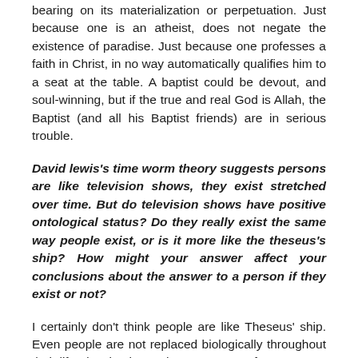bearing on its materialization or perpetuation. Just because one is an atheist, does not negate the existence of paradise. Just because one professes a faith in Christ, in no way automatically qualifies him to a seat at the table. A baptist could be devout, and soul-winning, but if the true and real God is Allah, the Baptist (and all his Baptist friends) are in serious trouble.
David lewis's time worm theory suggests persons are like television shows, they exist stretched over time. But do television shows have positive ontological status? Do they really exist the same way people exist, or is it more like the theseus's ship? How might your answer affect your conclusions about the answer to a person if they exist or not?
I certainly don't think people are like Theseus' ship. Even people are not replaced biologically throughout their life, despite the myth. Some parts of us are